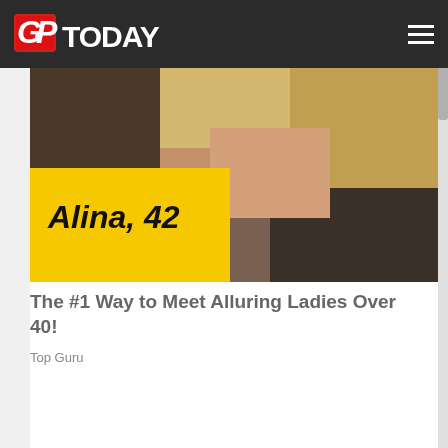GFToday
[Figure (photo): Advertisement photo showing a woman labeled 'Alina, 42' with a yellow banner in the lower left corner against a dark background]
The #1 Way to Meet Alluring Ladies Over 40!
Top Guru